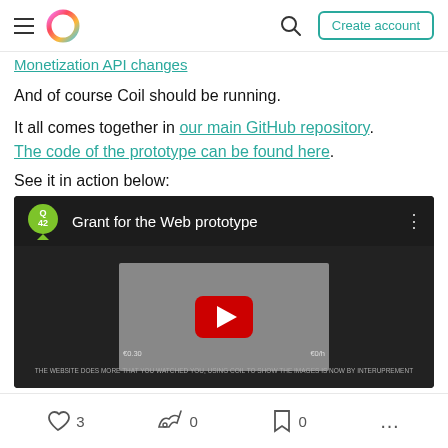Monetization API changes | Create account
Monetization API changes
And of course Coil should be running.
It all comes together in our main GitHub repository. The code of the prototype can be found here.
See it in action below:
[Figure (screenshot): YouTube-style embedded video player showing 'Grant for the Web prototype' with Q42 logo, dark background, and a video thumbnail with play button in center. Text overlays show cost amounts.]
3  0  0  ...